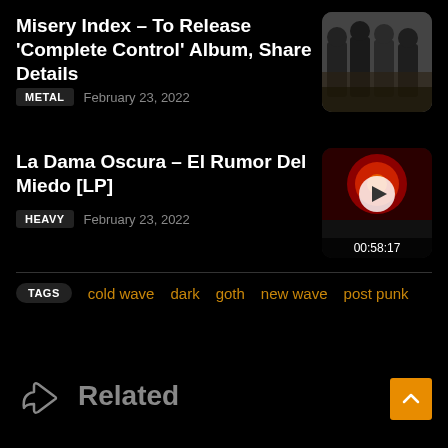Misery Index – To Release 'Complete Control' Album, Share Details
METAL   February 23, 2022
[Figure (photo): Band photo of Misery Index – four men in dark jackets against an outdoor background]
La Dama Oscura – El Rumor Del Miedo [LP]
HEAVY   February 23, 2022
[Figure (other): Album art thumbnail with play button and duration 00:58:17]
TAGS   cold wave   dark   goth   new wave   post punk
Related